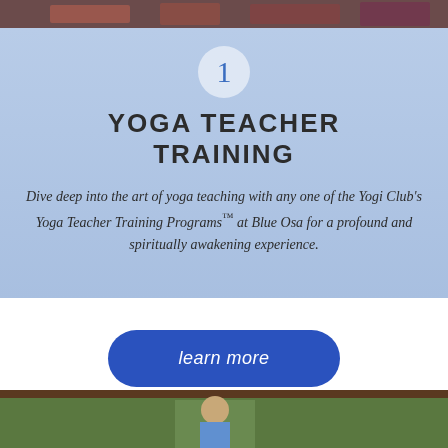[Figure (photo): Top portion of a group photo, partially visible at the top of the page]
1
YOGA TEACHER TRAINING
Dive deep into the art of yoga teaching with any one of the Yogi Club's Yoga Teacher Training Programs™ at Blue Osa for a profound and spiritually awakening experience.
learn more
[Figure (photo): Photo of a man in a blue shirt doing yoga or stretching in an open-air wooden structure surrounded by tropical green plants]